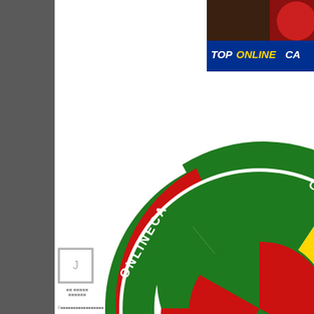[Figure (logo): Left dark gray sidebar with a light gray outlined box near bottom]
[Figure (photo): Top right banner showing 'TOP ONLINE CA...' text in yellow/white on dark blue background with gladiator and dice imagery]
[Figure (logo): Large circular online casino logo with green, yellow, red segments and text reading 'ONLINECA...' and 'G.ONLINECAG' around the ring, partially cropped at right edge]